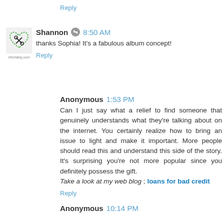Reply
Shannon  8:50 AM
thanks Sophia! It's a fabulous album concept!
Reply
Anonymous  1:53 PM
Can I just say what a relief to find someone that genuinely understands what they're talking about on the internet. You certainly realize how to bring an issue to light and make it important. More people should read this and understand this side of the story. It's surprising you're not more popular since you definitely possess the gift. Take a look at my web blog ; loans for bad credit
Reply
Anonymous  10:14 PM